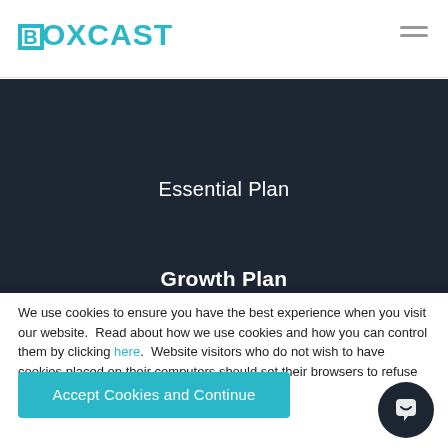BOXCAST
Essential Plan
Growth Plan
We use cookies to ensure you have the best experience when you visit our website.  Read about how we use cookies and how you can control them by clicking here.  Website visitors who do not wish to have cookies placed on their computers should set their browsers to refuse cookies before visiting the website.
Accept Cookies and Continue